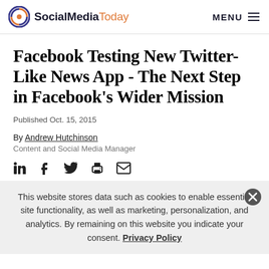SocialMediaToday | MENU
Facebook Testing New Twitter-Like News App - The Next Step in Facebook's Wider Mission
Published Oct. 15, 2015
By Andrew Hutchinson
Content and Social Media Manager
[Figure (other): Social sharing icons row: LinkedIn, Facebook, Twitter, Print, Email]
This website stores data such as cookies to enable essential site functionality, as well as marketing, personalization, and analytics. By remaining on this website you indicate your consent. Privacy Policy